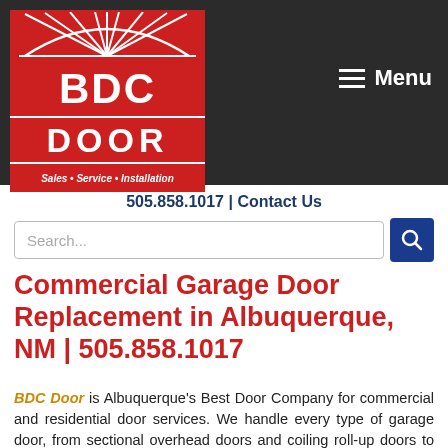[Figure (logo): BDC Door logo — red background with arch graphic, BDC text, DOOR text, and tagline 'Sales • Service • Installation' in white on red]
Menu
505.858.1017 | Contact Us
Search...
Commercial Garage Door Replacement in Albuquerque, NM | 505.858.1017
BDC Door is Albuquerque's Best Door Company for commercial and residential door services. We handle every type of garage door, from sectional overhead doors and coiling roll-up doors to specialty products like fire and impact doors.